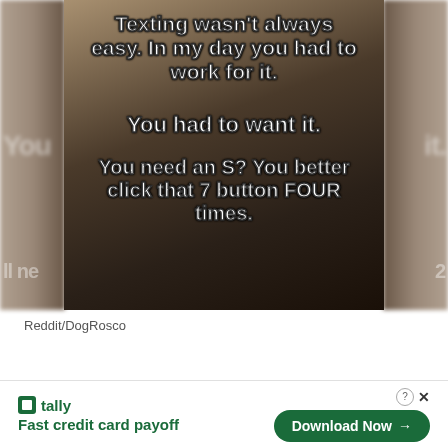[Figure (photo): A meme image showing a close-up photo of a flip phone keypad with white bold outlined text overlaid reading: 'Texting wasn't always easy. In my day you had to work for it. You had to want it. You need an S? You better click that 7 button FOUR times.']
Reddit/DogRosco
[Figure (infographic): Advertisement banner for Tally app. Shows Tally logo with text 'Fast credit card payoff' and a green 'Download Now →' button. Has a close/question icon in top right corner.]